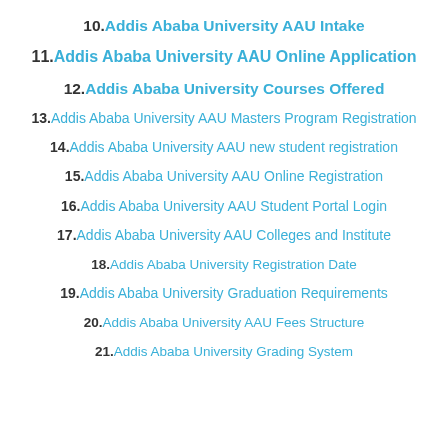10.Addis Ababa University AAU Intake
11.Addis Ababa University AAU Online Application
12.Addis Ababa University Courses Offered
13.Addis Ababa University AAU Masters Program Registration
14.Addis Ababa University AAU new student registration
15.Addis Ababa University AAU Online Registration
16.Addis Ababa University AAU Student Portal Login
17.Addis Ababa University AAU Colleges and Institute
18.Addis Ababa University Registration Date
19.Addis Ababa University Graduation Requirements
20.Addis Ababa University AAU Fees Structure
21.Addis Ababa University Grading System